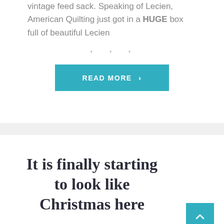vintage feed sack. Speaking of Lecien, American Quilting just got in a HUGE box full of beautiful Lecien
• • •
READ MORE >
It is finally starting to look like Christmas here
7:20:00 PM